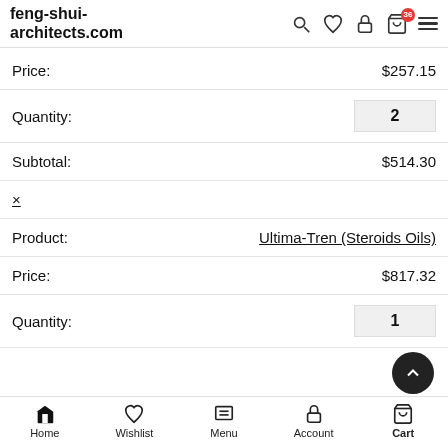feng-shui-architects.com
| Price: | $257.15 |
| Quantity: | 2 |
| Subtotal: | $514.30 |
| × |  |
| Product: | Ultima-Tren (Steroids Oils) |
| Price: | $817.32 |
| Quantity: | 1 |
Home  Wishlist  Menu  Account  Cart